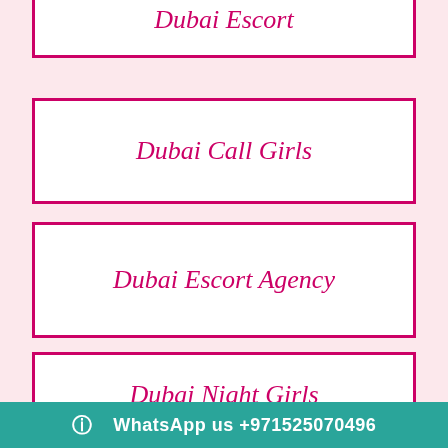Dubai Escort
Dubai Call Girls
Dubai Escort Agency
Dubai Night Girls
Indian Escorts Dubai
WhatsApp us +971525070496